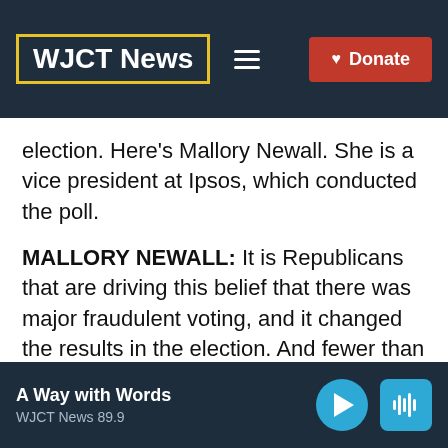WJCT News
election. Here's Mallory Newall. She is a vice president at Ipsos, which conducted the poll.
MALLORY NEWALL: It is Republicans that are driving this belief that there was major fraudulent voting, and it changed the results in the election. And fewer than half of Republicans are willing to accept the results of the 2020 presidential election.
ROSE: That last number, that fewer than
A Way with Words
WJCT News 89.9